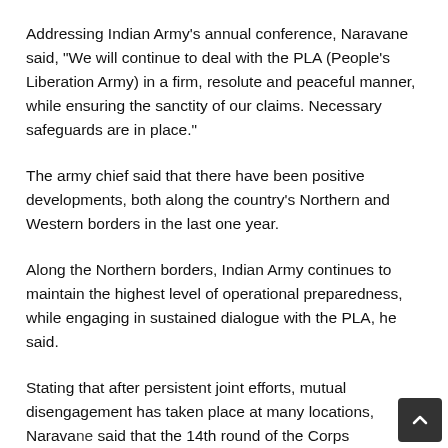Addressing Indian Army's annual conference, Naravane said, "We will continue to deal with the PLA (People's Liberation Army) in a firm, resolute and peaceful manner, while ensuring the sanctity of our claims. Necessary safeguards are in place."
The army chief said that there have been positive developments, both along the country's Northern and Western borders in the last one year.
Along the Northern borders, Indian Army continues to maintain the highest level of operational preparedness, while engaging in sustained dialogue with the PLA, he said.
Stating that after persistent joint efforts, mutual disengagement has taken place at many locations, Naravane said that the 14th round of the Corps Commander level talks...